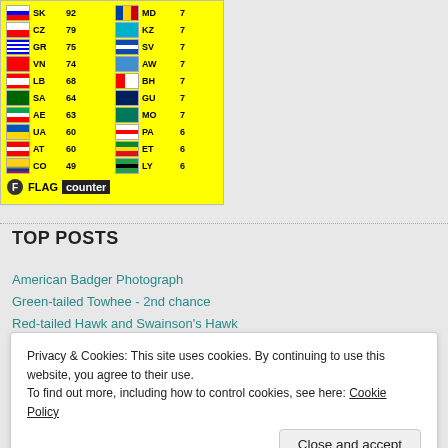[Figure (other): Flag counter widget showing country codes and visitor counts on yellow background. SK:92, CZ:79, GR:75, VN:74, LB:68, SA:64, AE:63, UA:60, AT:60, CO:49; MD:7, KZ:7, SV:7, AW:7, BH:7, GU:7, MO:7, PA:6, ET:6, LY:6]
TOP POSTS
American Badger Photograph
Green-tailed Towhee - 2nd chance
Red-tailed Hawk and Swainson's Hawk
Privacy & Cookies: This site uses cookies. By continuing to use this website, you agree to their use.
To find out more, including how to control cookies, see here: Cookie Policy
Close and accept